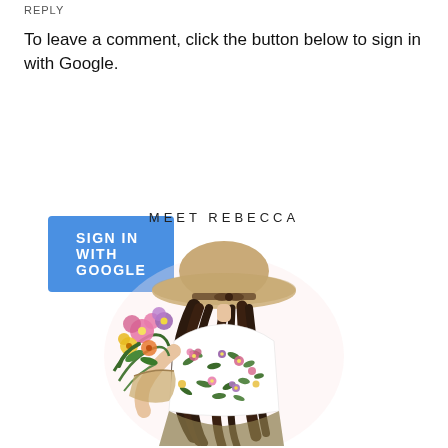REPLY
To leave a comment, click the button below to sign in with Google.
[Figure (illustration): A blue button labeled SIGN IN WITH GOOGLE]
MEET REBECCA
[Figure (illustration): Illustration of a woman seen from behind, wearing a wide-brim sun hat and a floral top, holding a bouquet of colorful flowers, with long dark hair flowing down.]